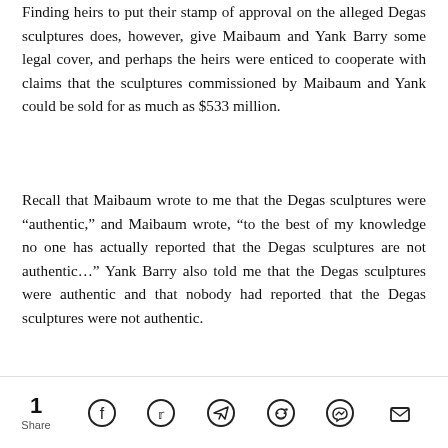Finding heirs to put their stamp of approval on the alleged Degas sculptures does, however, give Maibaum and Yank Barry some legal cover, and perhaps the heirs were enticed to cooperate with claims that the sculptures commissioned by Maibaum and Yank could be sold for as much as $533 million.
Recall that Maibaum wrote to me that the Degas sculptures were “authentic,” and Maibaum wrote, “to the best of my knowledge no one has actually reported that the Degas sculptures are not authentic…” Yank Barry also told me that the Degas sculptures were authentic and that nobody had reported that the Degas sculptures were not authentic.
1 Share [social icons: Facebook, Twitter, Telegram, Reddit, Messenger, Email]